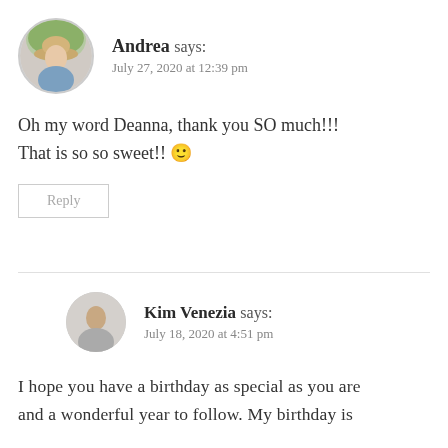Andrea says: July 27, 2020 at 12:39 pm
Oh my word Deanna, thank you SO much!!! That is so so sweet!! 🙂
Reply
Kim Venezia says: July 18, 2020 at 4:51 pm
I hope you have a birthday as special as you are and a wonderful year to follow. My birthday is